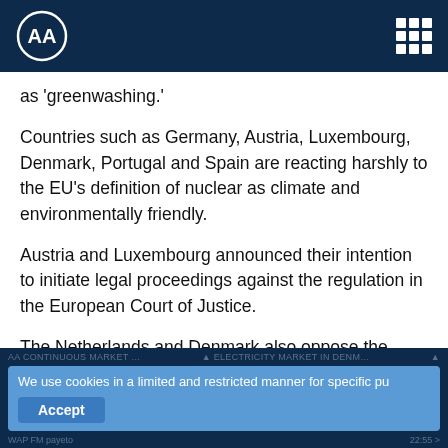AA (Anadolu Agency) logo and navigation
as 'greenwashing.'
Countries such as Germany, Austria, Luxembourg, Denmark, Portugal and Spain are reacting harshly to the EU's definition of nuclear as climate and environmentally friendly.
Austria and Luxembourg announced their intention to initiate legal proceedings against the regulation in the European Court of Justice.
The Netherlands and Denmark also oppose the adoption of natural gas as a sustainable fuel.
Cookie banner: We use cookies in a limited and restricted manner for specific pu... Accept